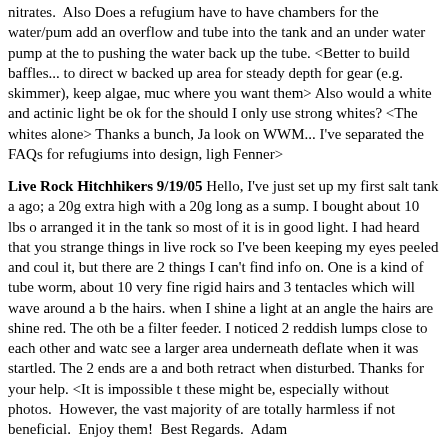nitrates. Also Does a refugium have to have chambers for the water/pump? I add an overflow and tube into the tank and an under water pump at the top pushing the water back up the tube. <Better to build baffles... to direct w backed up area for steady depth for gear (e.g. skimmer), keep algae, mud where you want them> Also would a white and actinic light be ok for the should I only use strong whites? <The whites alone> Thanks a bunch, Ja look on WWM... I've separated the FAQs for refugiums into design, ligh Fenner>
Live Rock Hitchhikers 9/19/05 Hello, I've just set up my first salt tank ago; a 20g extra high with a 20g long as a sump. I bought about 10 lbs of arranged it in the tank so most of it is in good light. I had heard that you strange things in live rock so I've been keeping my eyes peeled and could it, but there are 2 things I can't find info on. One is a kind of tube worm, about 10 very fine rigid hairs and 3 tentacles which will wave around a b the hairs. when I shine a light at an angle the hairs are shine red. The oth be a filter feeder. I noticed 2 reddish lumps close to each other and watch see a larger area underneath deflate when it was startled. The 2 ends are a and both retract when disturbed. Thanks for your help. <It is impossible these might be, especially without photos. However, the vast majority of are totally harmless if not beneficial. Enjoy them! Best Regards. Adam
Strange coral? Hi, <Hello there> A few months ago I purchased a very of live rock. At the time it only had two types of green algae/'seaweed'